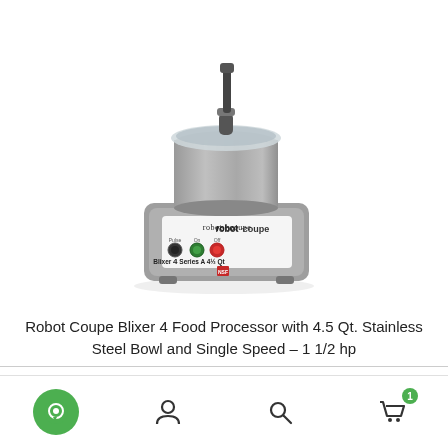[Figure (photo): Robot Coupe Blixer 4 food processor with stainless steel bowl and lid on top, grey base unit with green On button, red Off button, and black Pulse button, label reading 'Blixer 4 Series A 4½ Qt']
Robot Coupe Blixer 4 Food Processor with 4.5 Qt. Stainless Steel Bowl and Single Speed – 1 1/2 hp
[Figure (other): Bottom navigation bar with four icons: green circle chat/message icon, user/person icon, search/magnifying glass icon, and shopping cart icon with badge showing '1']